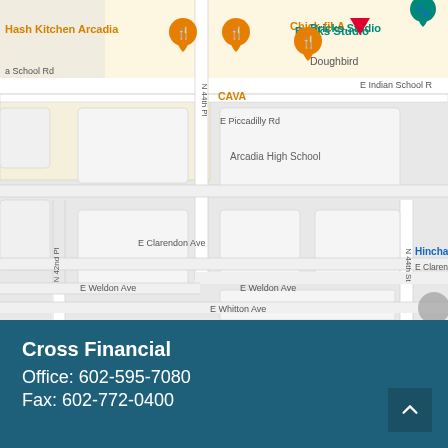[Figure (map): Google Maps screenshot showing streets near E Indian School Rd in Phoenix/Arcadia area. Visible landmarks include Hash Kitchen Arcadia, Chick-fil-A, Bricks Studio, Doughbird, CAVA, Arcadia High School, Hinchar Extecher. Streets visible: E Indian School Rd, N 44th Pl, N 42nd Pl, N 44th St, E Piccadilly Rd, E Clarendon Ave, E Weldon Ave, E Whitton Ave. Map shows restaurant pin icons in orange and a blue shopping bag pin for Hinchar Extecher.]
Cross Financial
Office: 602-595-7080
Fax: 602-772-0400